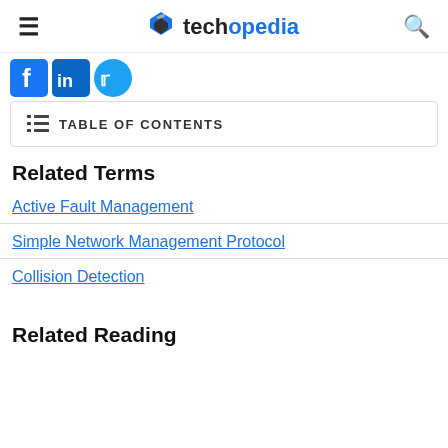techopedia
[Figure (logo): Social sharing icons: Facebook, LinkedIn, Twitter]
TABLE OF CONTENTS
Related Terms
Active Fault Management
Simple Network Management Protocol
Collision Detection
Related Reading